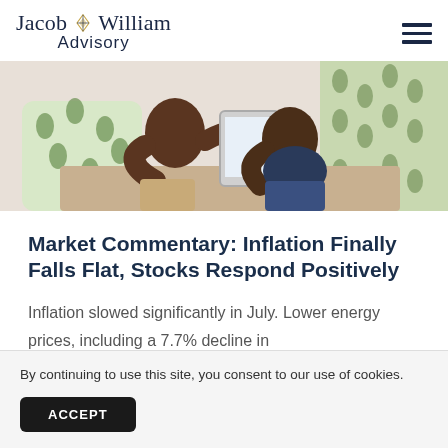Jacob William Advisory
[Figure (photo): Two people sitting on a couch, one holding a tablet, engaged in conversation. Green patterned pillow visible in background.]
Market Commentary: Inflation Finally Falls Flat, Stocks Respond Positively
Inflation slowed significantly in July. Lower energy prices, including a 7.7% decline in
By continuing to use this site, you consent to our use of cookies.